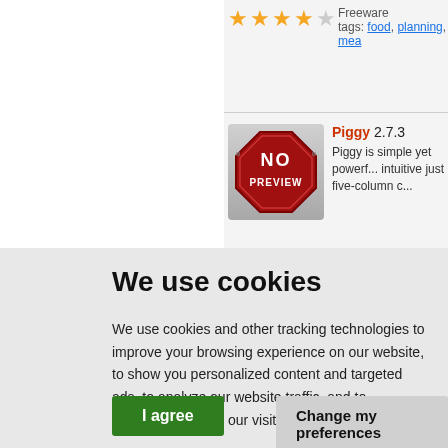[Figure (screenshot): Star rating showing 4 out of 5 stars (4 gold stars, 1 grey star)]
Freeware
tags: food, planning, mea...
[Figure (illustration): No Preview badge - octagonal red stop-sign style with NO PREVIEW text]
Piggy 2.7.3
Piggy is simple yet powerful intuitive just five-column c...
We use cookies
We use cookies and other tracking technologies to improve your browsing experience on our website, to show you personalized content and targeted ads, to analyze our website traffic, and to understand where our visitors are coming from.